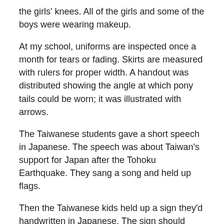the girls' knees. All of the girls and some of the boys were wearing makeup.
At my school, uniforms are inspected once a month for tears or fading. Skirts are measured with rulers for proper width. A handout was distributed showing the angle at which pony tails could be worn; it was illustrated with arrows.
The Taiwanese students gave a short speech in Japanese. The speech was about Taiwan's support for Japan after the Tohoku Earthquake. They sang a song and held up flags.
Then the Taiwanese kids held up a sign they'd handwritten in Japanese. The sign should have said “Nippon Ganbatte!” (“Japan, keep at it!”) but they spelled it wrong. The sign read, “Nippon Ganbateu!”